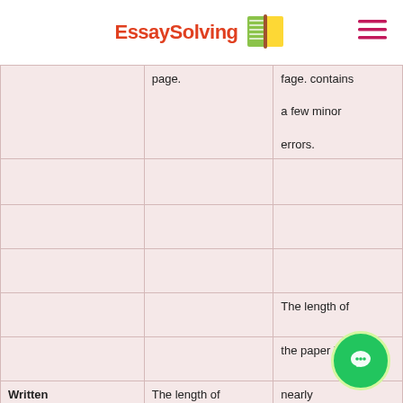EssaySolving [logo]
|  |  |  |
| --- | --- | --- |
|  | page. | fage. contains a few minor errors. |
|  |  |  |
|  |  |  |
|  |  |  |
|  |  | The length of the paper is nearly equivalent to the number of |
| Written Communication: Word Requirement | The length of the paper is equivalent to the required number | number of |